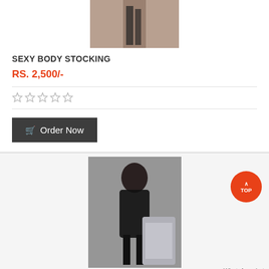[Figure (photo): Product photo of sexy body stocking - woman in black stockings, cropped/partial view]
SEXY BODY STOCKING
RS. 2,500/-
[Figure (other): Five empty star rating icons]
Order Now
[Figure (photo): Product photo - woman in black lingerie/body stocking with garter belt posing next to chrome chair]
WhatsApp chat